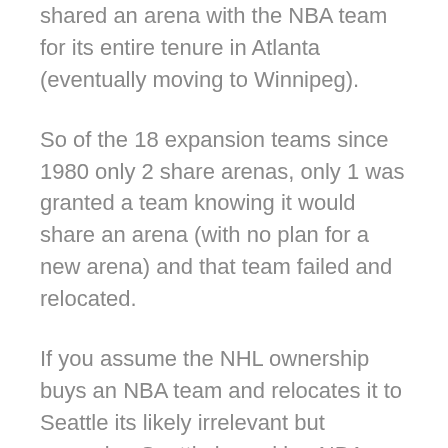shared an arena with the NBA team for its entire tenure in Atlanta (eventually moving to Winnipeg).
So of the 18 expansion teams since 1980 only 2 share arenas, only 1 was granted a team knowing it would share an arena (with no plan for a new arena) and that team failed and relocated.
If you assume the NHL ownership buys an NBA team and relocates it to Seattle its likely irrelevant but assuming Seattle is seeking NBA expansion I think it becomes very relevant because the NBA will likely want a group that includes people not associated with the